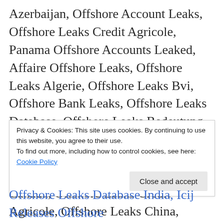Azerbaijan, Offshore Account Leaks, Offshore Leaks Credit Agricole, Panama Offshore Accounts Leaked, Affaire Offshore Leaks, Offshore Leaks Algerie, Offshore Leaks Bvi, Offshore Bank Leaks, Offshore Leaks Database, Offshore Leaks Bedeutung, Offshore Leaks Belgique Liste, Offshore Leaks Belgen, Offshore Leaks Belgique, Offshore Leaks Canada, Offshore Leaks Credit Agricole, Offshore Leaks China, Offshore Company Leaks, Icij Offshore Leaks China, Offshore Leaks Database, Offshore Leaks Database Search, Offshore Leaks Database Download, Offshore Leaks
Privacy & Cookies: This site uses cookies. By continuing to use this website, you agree to their use. To find out more, including how to control cookies, see here: Cookie Policy
Close and accept
Offshore Leaks Database India, Icij Releases Offshore